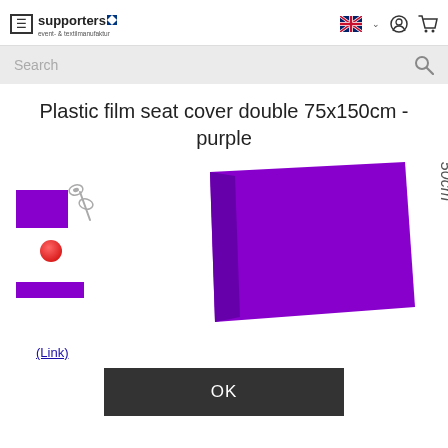supporters event- & textilmanufaktur | Search
Plastic film seat cover double 75x150cm - purple
[Figure (photo): Product images showing a purple plastic film seat cover 75x150cm. Left: small thumbnail with purple rectangle swatch, scissors and red ball. Center: large purple folded sheet. Right: dimension label rotated '75x150cm'.]
(Link)
OK